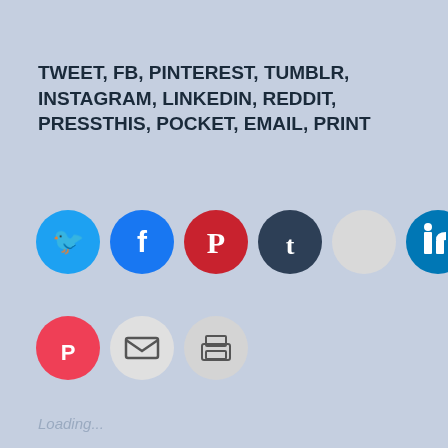TWEET, FB, PINTEREST, TUMBLR, INSTAGRAM, LINKEDIN, REDDIT, PRESSTHIS, POCKET, EMAIL, PRINT
[Figure (infographic): Row of social share icon buttons: Twitter (blue), Facebook (blue), Pinterest (red), Tumblr (dark navy), Instagram (light gray), LinkedIn (teal), Reddit (alien icon); second row: Pocket (red), Email (gray), Print (gray)]
Loading...
Posted in DVD MOVIE REVIEWS
3 Comments
Tagged american hustle, amy adams, artist, bradley,
Privacy & Cookies: This site uses cookies. By continuing to use this website, you agree to their use.
To find out more, including how to control cookies, see here: Cookie Policy
Close and accept